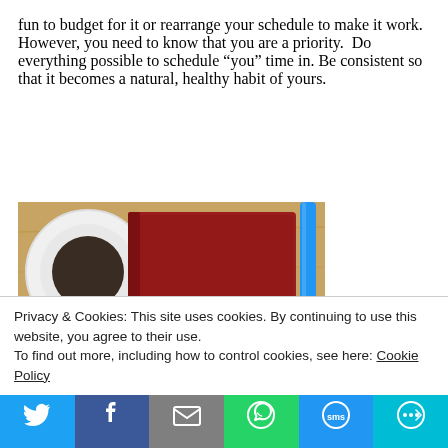fun to budget for it or rearrange your schedule to make it work. However, you need to know that you are a priority. Do everything possible to schedule “you” time in. Be consistent so that it becomes a natural, healthy habit of yours.
[Figure (photo): A red leather journal/notebook on a wooden table with a coffee cup and spoon on the left and a blue pen on the right. The notebook has text reading 'Be brave Be bold']
Privacy & Cookies: This site uses cookies. By continuing to use this website, you agree to their use.
To find out more, including how to control cookies, see here: Cookie Policy